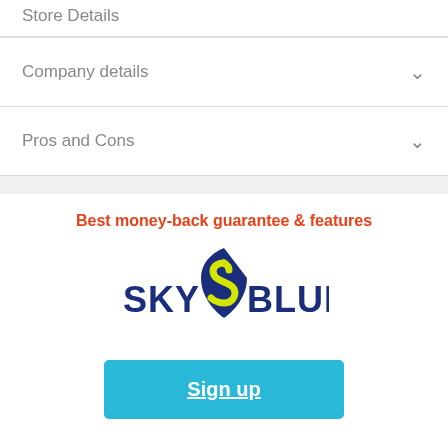Store Details
Company details
Pros and Cons
Best money-back guarantee & features
[Figure (logo): Sky Blue credit repair company logo — dark blue letters SKY and BLUE flanking a blue shield-shaped icon with a yellow S curve inside]
Sign up